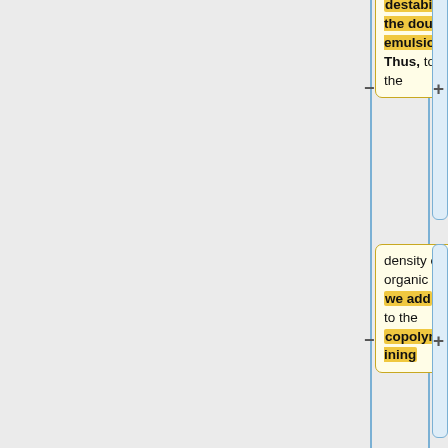destabilizing the double emulsions. Thus, to lower the
density of the organic phase, we add toluene to the copolymercontaining
chloroform as a second organic solvent.[10] For the
formation of stable polymer vesicles, the osmolarities of the